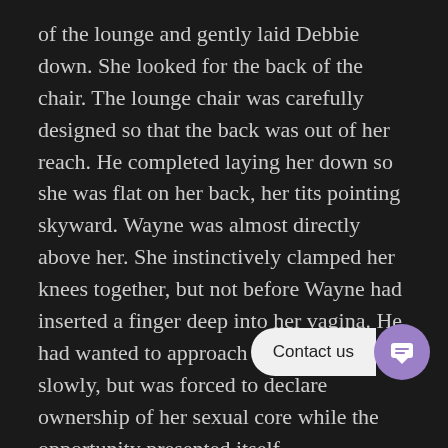of the lounge and gently laid Debbie down. She looked for the back of the chair. The lounge chair was carefully designed so that the back was out of her reach. He completed laying her down so she was flat on her back, her tits pointing skyward. Wayne was almost directly above her. She instinctively clamped her knees together, but not before Wayne had inserted a finger deep into her vagina. He had wanted to approach this last bastion slowly, but was forced to declare ownership of her sexual core while the opportunity presented itself.
Four hours ago, she had been simply his best friend's wife. Now he had caressed every part of her sexy exterior, and was beginning the serious assault on her inner being. Soon this voluptuous creature would be wrapping her powerful legs around his engorge… fill her with his seed. With his free hand, he queued… final disc, disc six. The sensual strains of Bolero filled the